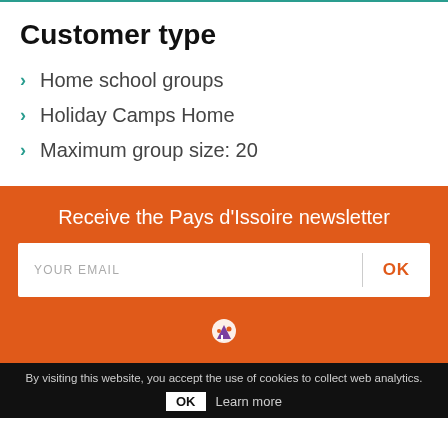Customer type
Home school groups
Holiday Camps Home
Maximum group size: 20
Receive the Pays d'Issoire newsletter
YOUR EMAIL
OK
By visiting this website, you accept the use of cookies to collect web analytics. OK Learn more